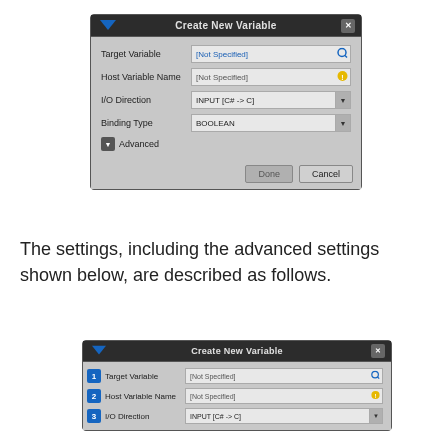[Figure (screenshot): Create New Variable dialog box showing fields: Target Variable ([Not Specified] with search icon), Host Variable Name ([Not Specified] with warning icon), I/O Direction (INPUT [C# -> C] dropdown), Binding Type (BOOLEAN dropdown), Advanced section, Done and Cancel buttons.]
The settings, including the advanced settings shown below, are described as follows.
[Figure (screenshot): Create New Variable dialog box with numbered badges: 1=Target Variable, 2=Host Variable Name, 3=I/O Direction, showing same fields as above dialog but with blue numbered labels on left.]